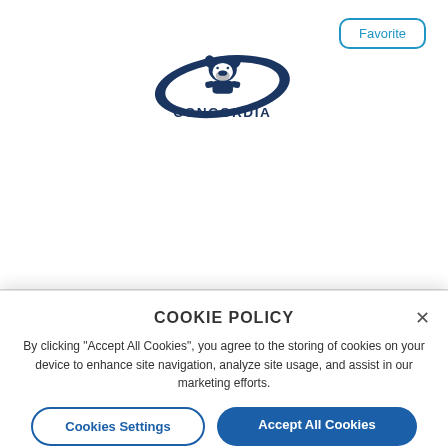[Figure (logo): Concordia University Bulldogs logo — bulldog mascot with a large C and text CONCORDIA beneath]
Favorite
Concordia University - Nebraska
NAIA
| $20,763 | 18 |
| --- | --- |
COOKIE POLICY
By clicking "Accept All Cookies", you agree to the storing of cookies on your device to enhance site navigation, analyze site usage, and assist in our marketing efforts.
Cookies Settings
Accept All Cookies